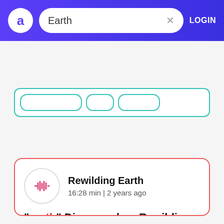Earth
[Figure (screenshot): Top search result card with teal border showing filter pills]
Rewilding Earth
16:28 min | 2 years ago
"earth" Discussed on Rewilding Earth
"We've had this living green engine that has produced everything that life needs. And right now we're going into the engine or just removing one part here one part there...
Harvey Locke